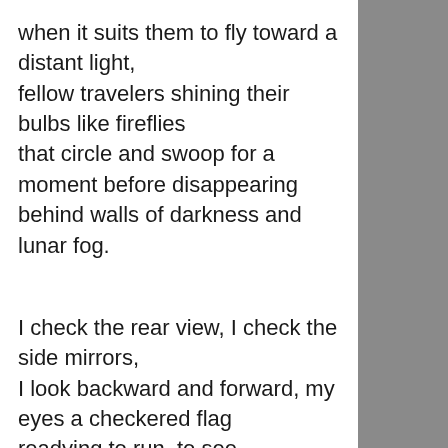when it suits them to fly toward a distant light,
fellow travelers shining their bulbs like fireflies
that circle and swoop for a moment before disappearing
behind walls of darkness and lunar fog.

I check the rear view, I check the side mirrors,
I look backward and forward, my eyes a checkered flag
readying to run, to see everything before making my move
to my personal distant landing spot, my place to rest
or to go about my business like the rest of us